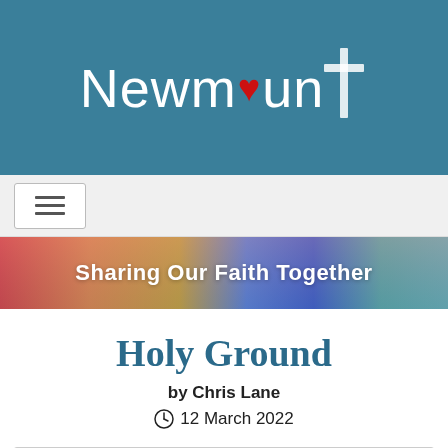Newmount
[Figure (screenshot): Navigation hamburger menu button]
[Figure (illustration): Colorful gradient banner reading 'Sharing Our Faith Together']
Holy Ground
by Chris Lane
12 March 2022
First published 9/3/2021. We continue to